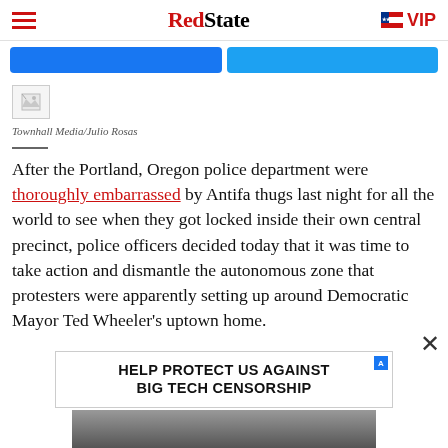RedState — VIP
[Figure (screenshot): Two social share buttons (Facebook and Twitter) in blue]
[Figure (photo): Broken/missing image placeholder thumbnail]
Townhall Media/Julio Rosas
After the Portland, Oregon police department were thoroughly embarrassed by Antifa thugs last night for all the world to see when they got locked inside their own central precinct, police officers decided today that it was time to take action and dismantle the autonomous zone that protesters were apparently setting up around Democratic Mayor Ted Wheeler's uptown home.
[Figure (infographic): Advertisement banner: HELP PROTECT US AGAINST BIG TECH CENSORSHIP]
[Figure (photo): Bottom strip showing partial image of people]